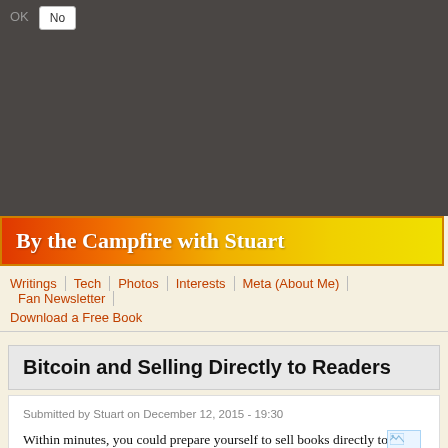OK  No
[Figure (screenshot): Dark grey banner/ad area at top of webpage]
By the Campfire with Stuart
Writings | Tech | Photos | Interests | Meta (About Me) | Fan Newsletter | Download a Free Book
Bitcoin and Selling Directly to Readers
Submitted by Stuart on December 12, 2015 - 19:30
Within minutes, you could prepare yourself to sell books directly to readers and accept payment in Bitcoin. The "how" is addressed in my latest book, Selling Books With Bitcoin. In this blog